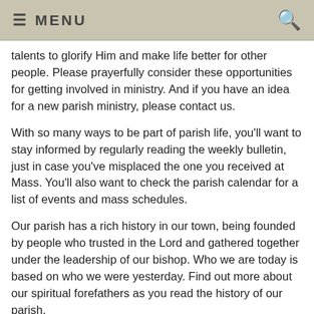≡ MENU
talents to glorify Him and make life better for other people. Please prayerfully consider these opportunities for getting involved in ministry. And if you have an idea for a new parish ministry, please contact us.
With so many ways to be part of parish life, you'll want to stay informed by regularly reading the weekly bulletin, just in case you've misplaced the one you received at Mass. You'll also want to check the parish calendar for a list of events and mass schedules.
Our parish has a rich history in our town, being founded by people who trusted in the Lord and gathered together under the leadership of our bishop. Who we are today is based on who we were yesterday. Find out more about our spiritual forefathers as you read the history of our parish.